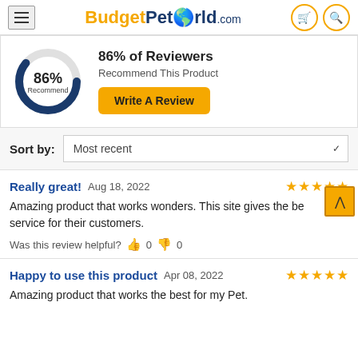BudgetPetWorld.com
[Figure (donut-chart): 86% Recommend]
86% of Reviewers
Recommend This Product
Write A Review
Sort by: Most recent
Really great!  Aug 18, 2022
Amazing product that works wonders. This site gives the best service for their customers.
Was this review helpful?  0   0
Happy to use this product  Apr 08, 2022
Amazing product that works the best for my Pet.